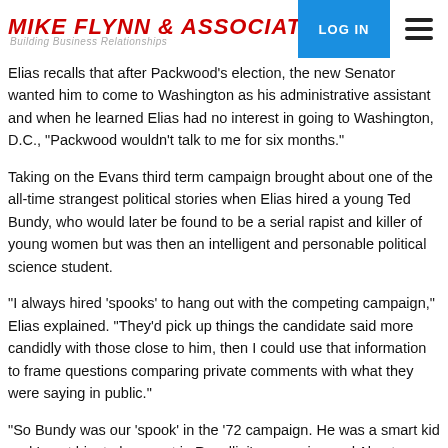MIKE FLYNN & ASSOCIATES
Elias recalls that after Packwood's election, the new Senator wanted him to come to Washington as his administrative assistant and when he learned Elias had no interest in going to Washington, D.C., "Packwood wouldn't talk to me for six months."
Taking on the Evans third term campaign brought about one of the all-time strangest political stories when Elias hired a young Ted Bundy, who would later be found to be a serial rapist and killer of young women but was then an intelligent and personable political science student.
"I always hired 'spooks' to hang out with the competing campaign," Elias explained. "They'd pick up things the candidate said more candidly with those close to him, then I could use that information to frame questions comparing private comments with what they were saying in public."
"So Bundy was our 'spook' in the '72 campaign. He was a smart kid and I sent him to hang out in Rosellini's campaign and Al got